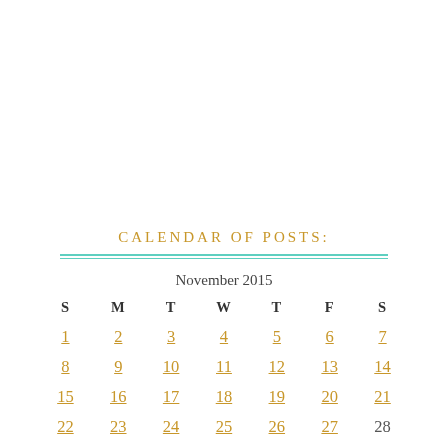CALENDAR OF POSTS:
| S | M | T | W | T | F | S |
| --- | --- | --- | --- | --- | --- | --- |
| 1 | 2 | 3 | 4 | 5 | 6 | 7 |
| 8 | 9 | 10 | 11 | 12 | 13 | 14 |
| 15 | 16 | 17 | 18 | 19 | 20 | 21 |
| 22 | 23 | 24 | 25 | 26 | 27 | 28 |
| 29 | 30 |  |  |  |  |  |